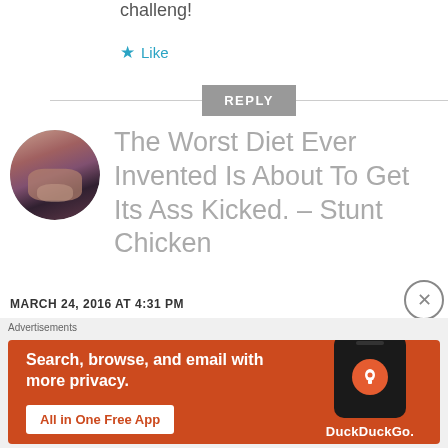challeng!
★ Like
REPLY
[Figure (photo): Circular avatar photo of a person showing tattooed knuckles close to camera]
The Worst Diet Ever Invented Is About To Get Its Ass Kicked. – Stunt Chicken
MARCH 24, 2016 AT 4:31 PM
[Figure (advertisement): DuckDuckGo ad banner on orange background: Search, browse, and email with more privacy. All in One Free App. Shows phone with DuckDuckGo logo.]
Advertisements